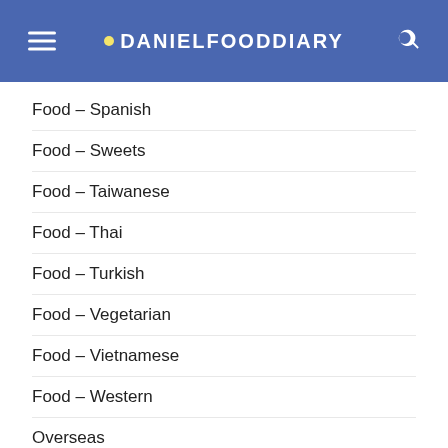DANIELFOODDIARY
Food – Spanish
Food – Sweets
Food – Taiwanese
Food – Thai
Food – Turkish
Food – Vegetarian
Food – Vietnamese
Food – Western
Overseas
Overseas – Australia
Overseas – Bali
Overseas – Bangkok
Overseas – Beijing 🀄🀄